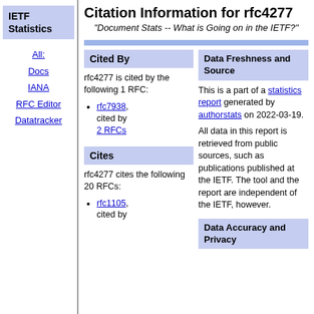IETF Statistics
All:
Docs
IANA
RFC Editor
Datatracker
Citation Information for rfc4277
"Document Stats -- What is Going on in the IETF?"
Cited By
rfc4277 is cited by the following 1 RFC:
rfc7938, cited by 2 RFCs
Data Freshness and Source
This is a part of a statistics report generated by authorstats on 2022-03-19.
All data in this report is retrieved from public sources, such as publications published at the IETF. The tool and the report are independent of the IETF, however.
Cites
rfc4277 cites the following 20 RFCs:
rfc1105, cited by
Data Accuracy and Privacy